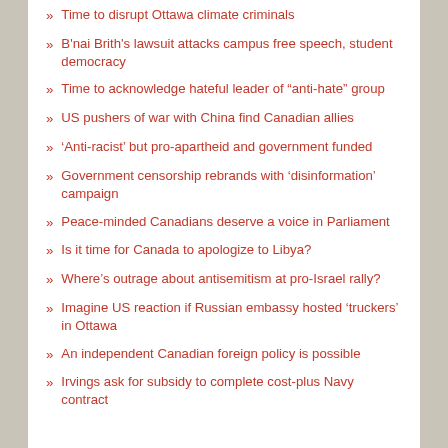Time to disrupt Ottawa climate criminals
B'nai Brith's lawsuit attacks campus free speech, student democracy
Time to acknowledge hateful leader of “anti-hate” group
US pushers of war with China find Canadian allies
‘Anti-racist’ but pro-apartheid and government funded
Government censorship rebrands with ‘disinformation’ campaign
Peace-minded Canadians deserve a voice in Parliament
Is it time for Canada to apologize to Libya?
Where’s outrage about antisemitism at pro-Israel rally?
Imagine US reaction if Russian embassy hosted ‘truckers’ in Ottawa
An independent Canadian foreign policy is possible
Irvings ask for subsidy to complete cost-plus Navy contract